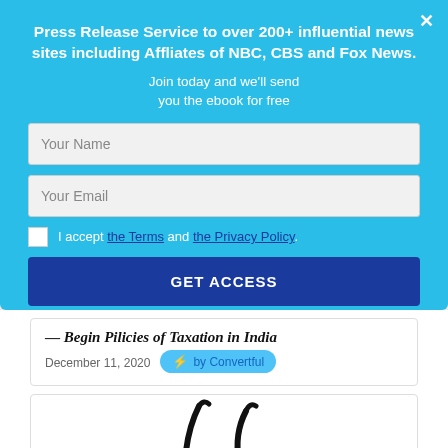Press Release Service to over 200+ influential news sites including Affliates of NBC, CBS and Fox News.
Join today and we'll send you the ebook for free
Your Name
Your Email
I accept the Terms and the Privacy Policy.
GET ACCESS
December 11, 2020
[Figure (screenshot): by Convertful badge with lightning bolt icon]
[Figure (photo): Wireless earbuds product image on white background]